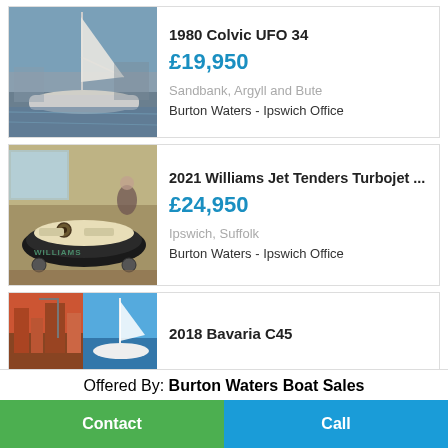[Figure (photo): Sailboat moored at marina, white hull, masts visible]
1980 Colvic UFO 34
£19,950
Sandbank, Argyll and Bute
Burton Waters - Ipswich Office
[Figure (photo): Williams jet tender boat displayed on showroom floor]
2021 Williams Jet Tenders Turbojet ...
£24,950
Ipswich, Suffolk
Burton Waters - Ipswich Office
[Figure (photo): Two thumbnail images of a Bavaria C45 boat]
2018 Bavaria C45
Offered By: Burton Waters Boat Sales
Contact
Call